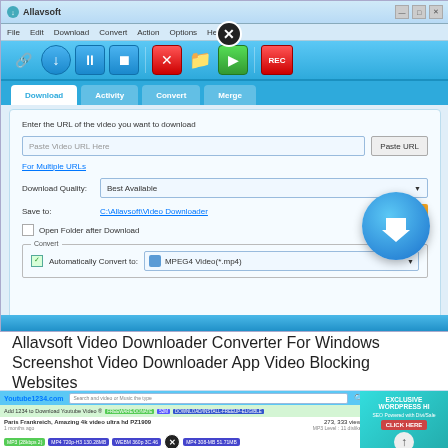[Figure (screenshot): Allavsoft Video Downloader Converter application window showing the Download tab with URL input field, quality selection set to Best Available, save path C:\Allavsoft\Video Downloader, Open Folder after Download checkbox, Convert section with MPEG4 Video(*.mp4) selected, and a large blue circular download button]
Allavsoft Video Downloader Converter For Windows Screenshot Video Downloader App Video Blocking Websites
[Figure (screenshot): Youtube1234.com website showing a video download interface with search bar, a green notification bar about downloading YouTube video, Paris Frankreich Amazing 4k video ultra hd PZ1909 video with 273,333 views, and download buttons for MP3, MP4 720p, WebM 360p, MP4 360p, with an advertisement on the right for Exclusive WordPress Hi]